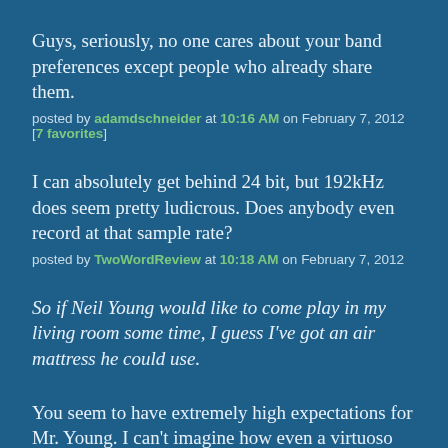Guys, seriously, no one cares about your band preferences except people who already share them.
posted by adamdschneider at 10:16 AM on February 7, 2012 [7 favorites]
I can absolutely get behind 24 bit, but 192kHz does seem pretty ludicrous. Does anybody even record at that sample rate?
posted by TwoWordReview at 10:18 AM on February 7, 2012
So if Neil Young would like to come play in my living room some time, I guess I've got an air mattress he could use.
You seem to have extremely high expectations for Mr. Young. I can't imagine how even a virtuoso would get good music